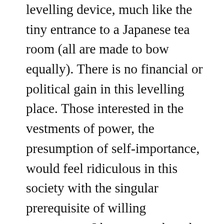levelling device, much like the tiny entrance to a Japanese tea room (all are made to bow equally). There is no financial or political gain in this levelling place. Those interested in the vestments of power, the presumption of self-importance, would feel ridiculous in this society with the singular prerequisite of willing acceptance. I have never heard an angry word spoken, as even the most serious topics are approached with great good humor and regard for the feelings of others. The homely surroundings, by definition, do not admit snobbery or exclusion. In other words, a piece of all its members is rooted in this little country chapel.  Smoke and mirrors may entertain the masses but spiritual well-being requires a heavier investment.